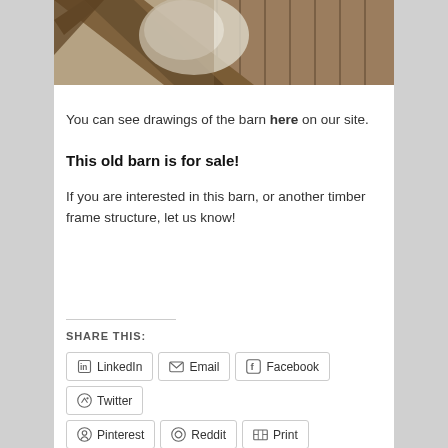[Figure (photo): Interior view of an old barn showing wooden timber frame structure with beams and weathered wood walls, with light coming through]
You can see drawings of the barn here on our site.
This old barn is for sale!
If you are interested in this barn, or another timber frame structure, let us know!
SHARE THIS:
LinkedIn | Email | Facebook | Twitter | Pinterest | Reddit | Print | Tumblr